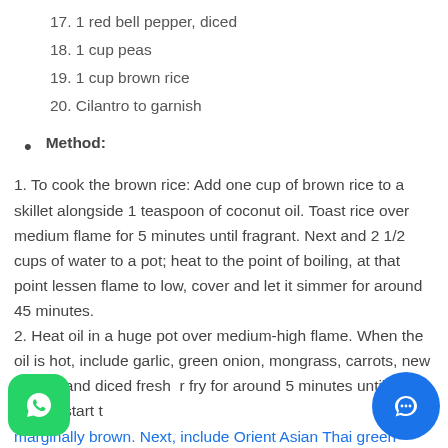17. 1 red bell pepper, diced
18. 1 cup peas
19. 1 cup brown rice
20. Cilantro to garnish
• Method:
1. To cook the brown rice: Add one cup of brown rice to a skillet alongside 1 teaspoon of coconut oil. Toast rice over medium flame for 5 minutes until fragrant. Next and 2 1/2 cups of water to a pot; heat to the point of boiling, at that point lessen flame to low, cover and let it simmer for around 45 minutes.
2. Heat oil in a huge pot over medium-high flame. When the oil is hot, include garlic, green onion, mongrass, carrots, new ginger, and diced fresh r fry for around 5 minutes until the onions start t marginally brown. Next, include Orient Asian Thai green